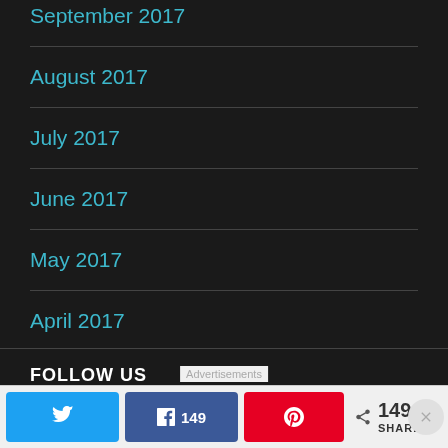September 2017
August 2017
July 2017
June 2017
May 2017
April 2017
FOLLOW US
Tweet | Facebook 149 | Pinterest | < 149 SHARES